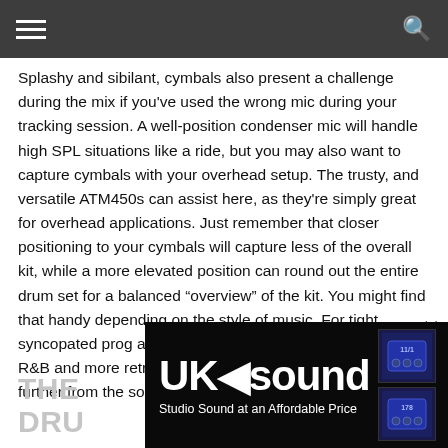[hamburger menu] [search icon]
Splashy and sibilant, cymbals also present a challenge during the mix if you've used the wrong mic during your tracking session. A well-position condenser mic will handle high SPL situations like a ride, but you may also want to capture cymbals with your overhead setup. The trusty, and versatile ATM450s can assist here, as they're simply great for overhead applications. Just remember that closer positioning to your cymbals will capture less of the overall kit, while a more elevated position can round out the entire drum set for a balanced “overview” of the kit. You might find that handy depending on the style of music. For tight, syncopated prog and metal, you might not need it. For soul, R&B and more retro sounding material, try moving the mics further from the source and see how that suits the session.
THE... DRU...
[Figure (other): UK Sound advertisement banner — Studio Sound at an Affordable Price — with gear images on the right side]